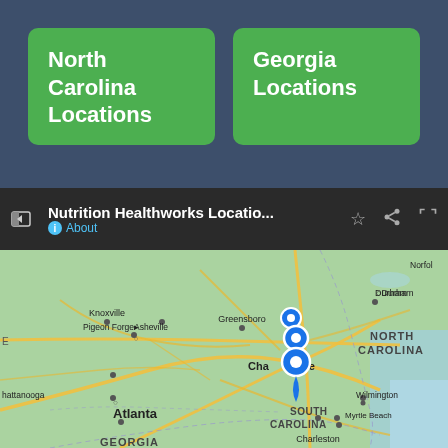[Figure (other): Top section with dark blue-gray textured background behind the green buttons]
North Carolina Locations
Georgia Locations
[Figure (screenshot): Google Maps toolbar showing 'Nutrition Healthworks Locatio...' with About link, star, share, and expand icons]
[Figure (map): Google Maps screenshot showing southeastern US states including North Carolina, South Carolina, Georgia, with blue location pin markers clustered near Charlotte NC area. Cities labeled include Knoxville, Pigeon Forge, Asheville, Greensboro, Durham, Chattanooga, Charlotte, Atlanta, Wilmington, Myrtle Beach, Charleston. States labeled: North Carolina, South Carolina, Georgia. Norfolk visible top right.]